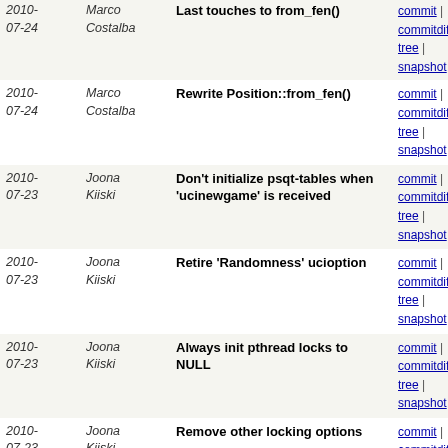| Date | Author | Message | Links |
| --- | --- | --- | --- |
| 2010-07-24 | Marco Costalba | Last touches to from_fen() | commit | commitdiff | tree | snapshot |
| 2010-07-24 | Marco Costalba | Rewrite Position::from_fen() | commit | commitdiff | tree | snapshot |
| 2010-07-23 | Joona Kiiski | Don't initialize psqt-tables when 'ucinewgame' is received | commit | commitdiff | tree | snapshot |
| 2010-07-23 | Joona Kiiski | Retire 'Randomness' ucioption | commit | commitdiff | tree | snapshot |
| 2010-07-23 | Joona Kiiski | Always init pthread locks to NULL | commit | commitdiff | tree | snapshot |
| 2010-07-23 | Joona Kiiski | Remove other locking options | commit | commitdiff | tree | snapshot |
| 2010-07-23 | Marco Costalba | Retire SearchStack init() and initKillers() | commit | commitdiff | tree | snapshot |
| 2010-07-23 | Marco Costalba | Fix errouneus reset of ss->threatMove | commit | commitdiff | tree | snapshot |
| 2010-07-22 | Marco Costalba | Revert previous patch | commit | commitdiff | tree | snapshot |
| 2010-07-22 | Marco Costalba | Weight backward-ness of a pawn | commit | commitdiff | tree | snapshot |